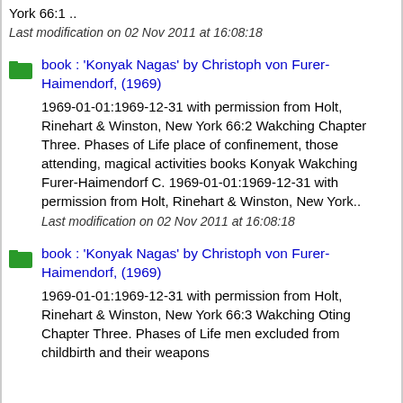York 66:1 ..
Last modification on 02 Nov 2011 at 16:08:18
book : 'Konyak Nagas' by Christoph von Furer-Haimendorf, (1969)
1969-01-01:1969-12-31 with permission from Holt, Rinehart & Winston, New York 66:2 Wakching Chapter Three. Phases of Life place of confinement, those attending, magical activities books Konyak Wakching Furer-Haimendorf C. 1969-01-01:1969-12-31 with permission from Holt, Rinehart & Winston, New York..
Last modification on 02 Nov 2011 at 16:08:18
book : 'Konyak Nagas' by Christoph von Furer-Haimendorf, (1969)
1969-01-01:1969-12-31 with permission from Holt, Rinehart & Winston, New York 66:3 Wakching Oting Chapter Three. Phases of Life men excluded from childbirth and their weapons